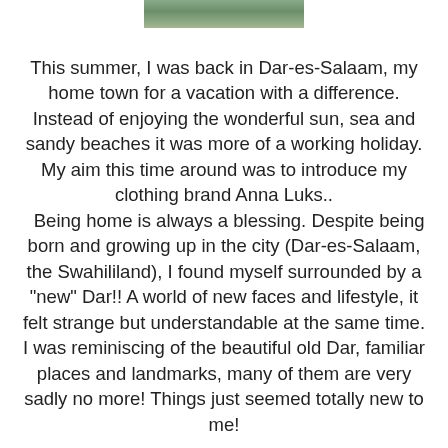[Figure (photo): Partial photo visible at top of page, cropped image showing greenery]
This summer, I was back in Dar-es-Salaam, my home town for a vacation with a difference.  Instead of enjoying the wonderful sun, sea and sandy beaches it was more of a working holiday.  My aim this time around was to introduce my clothing brand Anna Luks..
Being home is always a blessing.   Despite being born and growing up in the city (Dar-es-Salaam, the Swahililand), I found myself surrounded by a "new" Dar!!  A world of new faces and lifestyle, it felt strange but understandable at the same time.  I was reminiscing of the beautiful old Dar, familiar places and landmarks, many of them are very sadly no more!  Things just seemed totally new to me!
I was quite fortunate to have family and friends helping me out in my venture.  Karolyn Klaire and Sandra King played an important role in bringing Anna